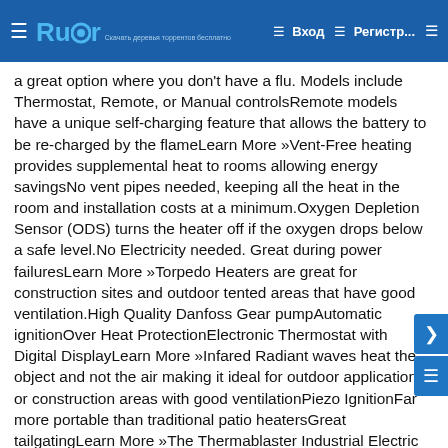Rutor — Вход — Регистр...
a great option where you don't have a flu. Models include Thermostat, Remote, or Manual controlsRemote models have a unique self-charging feature that allows the battery to be recharged by the flameLearn More »Vent-Free heating provides supplemental heat to rooms allowing energy savingsNo vent pipes needed, keeping all the heat in the room and installation costs at a minimum.Oxygen Depletion Sensor (ODS) turns the heater off if the oxygen drops below a safe level.No Electricity needed. Great during power failuresLearn More »Torpedo Heaters are great for construction sites and outdoor tented areas that have good ventilation.High Quality Danfoss Gear pumpAutomatic ignitionOver Heat ProtectionElectronic Thermostat with Digital DisplayLearn More »Infared Radiant waves heat the object and not the air making it ideal for outdoor applications or construction areas with good ventilationPiezo IgnitionFar more portable than traditional patio heatersGreat for tailgatingLearn More »The Thermablaster Industrial Electric heaters are perfect for workshops with high ceilings and large floor space.Heat Output: 14000 BTU & 17000 BTUElectric